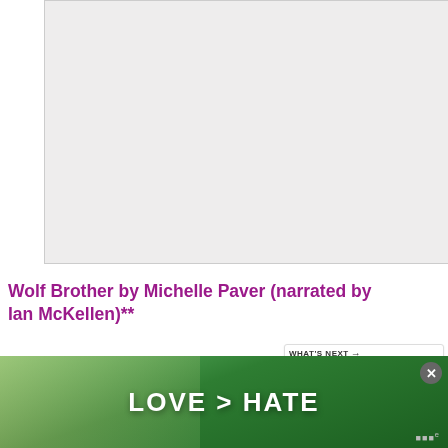[Figure (photo): Large book cover image area, light grey/white background, appears to be a book or audiobook cover for Wolf Brother]
[Figure (infographic): Heart/like button circle in purple/pink with heart icon showing 320 likes, and a share button circle below it]
Wolf Brother by Michelle Paver (narrated by Ian McKellen)**
[Figure (infographic): WHAT'S NEXT banner with Audible Kindle Unlimited logo and text 'Kindle Unlimited vs...']
I got this audiobook to take on holiday with m... Walkman when I was eleven. It tells the story of Torak, who
exist... and his... father... killed by a de... the world...
[Figure (photo): Advertisement banner showing hands forming a heart shape against green nature background with text LOVE > HATE and a close X button]